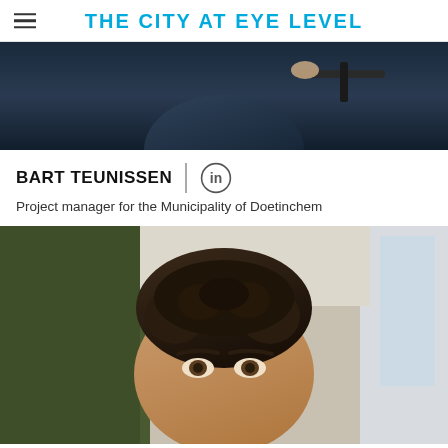THE CITY AT EYE LEVEL
[Figure (photo): Top portion of a person in a dark suit holding a railing, dark background]
BART TEUNISSEN
Project manager for the Municipality of Doetinchem
[Figure (photo): Close-up portrait photo of a man with curly dark hair, looking at the camera, green plant wall visible on left, window on right]